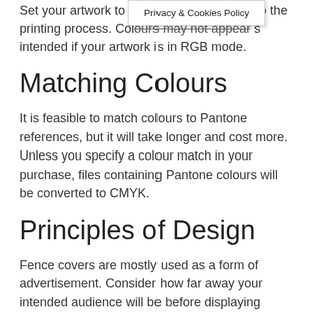Set your artwork to CMYK to the printing process. Colours may not appear as intended if your artwork is in RGB mode.
[Figure (screenshot): Privacy & Cookies Policy tooltip/dropdown overlay on the page]
Matching Colours
It is feasible to match colours to Pantone references, but it will take longer and cost more. Unless you specify a colour match in your purchase, files containing Pantone colours will be converted to CMYK.
Principles of Design
Fence covers are mostly used as a form of advertisement. Consider how far away your intended audience will be before displaying content that is difficult to read. Is your cover going to be